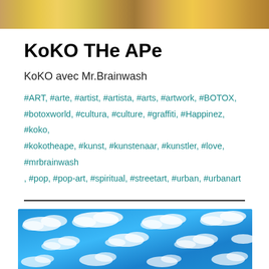[Figure (photo): Cropped photo of colorful artwork at top of page]
KoKO THe APe
KoKO avec Mr.Brainwash
#ART, #arte, #artist, #artista, #arts, #artwork, #BOTOX, #botoxworld, #cultura, #culture, #graffiti, #Happinez, #koko, #kokotheape, #kunst, #kunstenaar, #kunstler, #love, #mrbrainwash, #pop, #pop-art, #spiritual, #streetart, #urban, #urbanart
[Figure (photo): Blue sky with scattered white clouds]